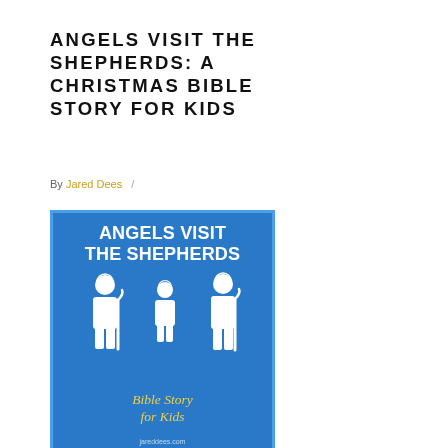ANGELS VISIT THE SHEPHERDS: A CHRISTMAS BIBLE STORY FOR KIDS
By Jared Dees /
[Figure (illustration): Blue book cover titled 'ANGELS VISIT THE SHEPHERDS' with three white shepherd figure icons and yellow subtitle text 'Bible Story for Kids']